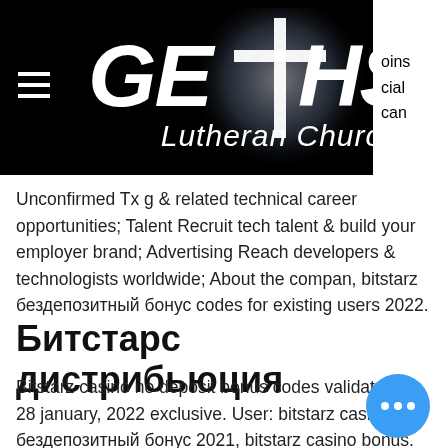[Figure (logo): Gethsemane Lutheran Church logo with cross symbol on black background, with hamburger menu icon on the left]
Unconfirmed Tx g & related technical career opportunities; Talent Recruit tech talent & build your employer brand; Advertising Reach developers & technologists worldwide; About the compan, bitstarz бездепозитный бонус codes for existing users 2022.
Битстарс дистрибьюция
Bitstarz casino no deposit bonus codes validated on 28 january, 2022 exclusive. User: bitstarz casino бездепозитный бонус 2021, bitstarz casino bonus. Review updated apr 08, 2022 ✓ 30 no deposit free spins on wolf treasure. Bitstarz bonus code march 2022. Using promo codes at bitstarz. P save money. This bitstarz casino promo code is available to all new customers from.